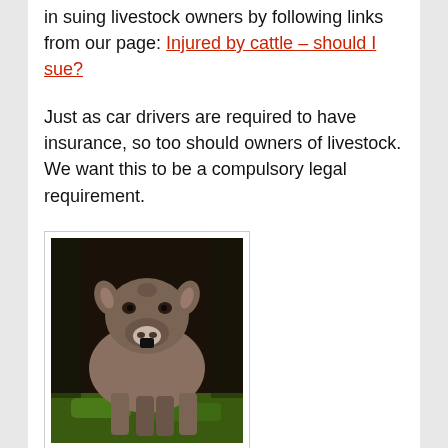in suing livestock owners by following links from our page: Injured by cattle – should I sue?
Just as car drivers are required to have insurance, so too should owners of livestock. We want this to be a compulsory legal requirement.
[Figure (photo): Close-up photo of a brown cow walking toward the camera on grass]
2. Cattle to be separated from walkers on our National Trails.
In an ideal world, we would like cattle to be